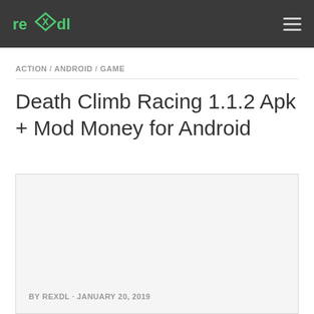REXDL
ACTION / ANDROID / GAME
Death Climb Racing 1.1.2 Apk + Mod Money for Android
[Figure (photo): Light gray placeholder image area for the game screenshot]
BY REXDL · JANUARY 20, 2019